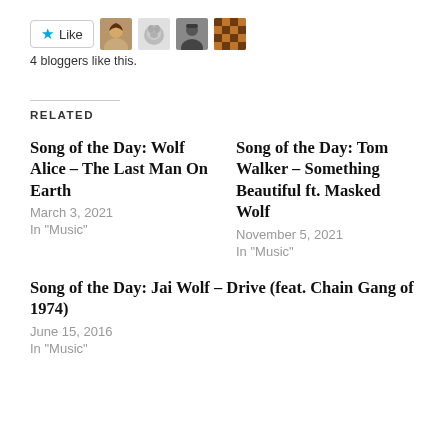[Figure (other): Like button with star icon and text 'Like', followed by four blogger avatar thumbnails]
4 bloggers like this.
RELATED
Song of the Day: Wolf Alice – The Last Man On Earth
March 3, 2021
In "Music"
Song of the Day: Tom Walker – Something Beautiful ft. Masked Wolf
November 5, 2021
In "Music"
Song of the Day: Jai Wolf – Drive (feat. Chain Gang of 1974)
June 15, 2016
In "Music"